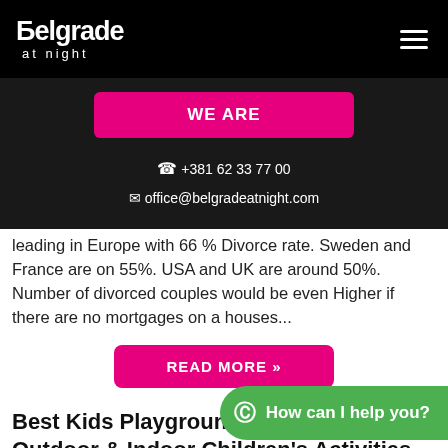Belgrade at night
WE ARE
+381 62 33 77 00
office@belgradeatnight.com
leading in Europe with 66 % Divorce rate. Sweden and France are on 55%. USA and UK are around 50%. Number of divorced couples would be even Higher if there are no mortgages on a houses...
READ MORE »
Best Kids Playgrounds in Belgrade | Outdoor & Indoor Children's Activities
Posted February 4th, 20...
How can I help you?